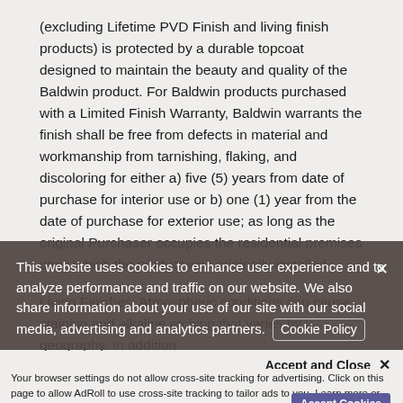(excluding Lifetime PVD Finish and living finish products) is protected by a durable topcoat designed to maintain the beauty and quality of the Baldwin product. For Baldwin products purchased with a Limited Finish Warranty, Baldwin warrants the finish shall be free from defects in material and workmanship from tarnishing, flaking, and discoloring for either a) five (5) years from date of purchase for interior use or b) one (1) year from the date of purchase for exterior use; as long as the original Purchaser occupies the residential premises upon which the product was originally installed.
Living Finishes: Atmospheric conditions can cause staining and alkaline etching that varies by geography. In addition
This website uses cookies to enhance user experience and to analyze performance and traffic on our website. We also share information about your use of our site with our social media, advertising and analytics partners. Cookie Policy
Accept and Close ✕
Your browser settings do not allow cross-site tracking for advertising. Click on this page to allow AdRoll to use cross-site tracking to tailor ads to you. Learn more or opt out of this AdRoll tracking by clicking here. This message only appears once.